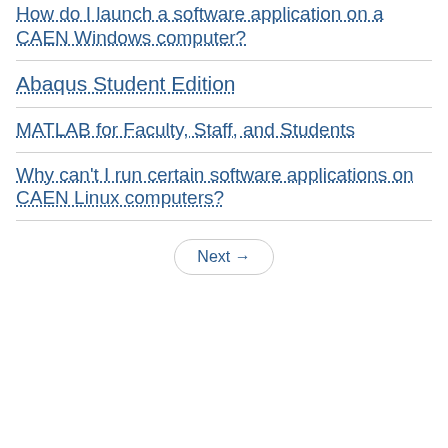How do I launch a software application on a CAEN Windows computer?
Abaqus Student Edition
MATLAB for Faculty, Staff, and Students
Why can't I run certain software applications on CAEN Linux computers?
Next →